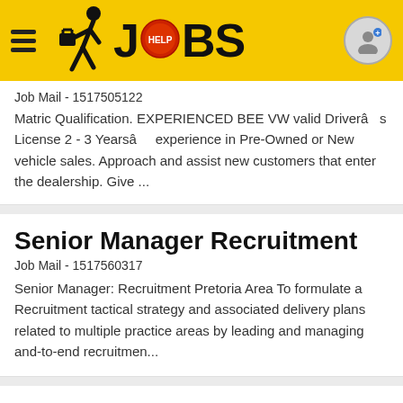JOBS
Job Mail - 1517505122
Matric Qualification. EXPERIENCED BEE VW valid Driverâs License 2 - 3 Yearsâ experience in Pre-Owned or New vehicle sales. Approach and assist new customers that enter the dealership. Give ...
Senior Manager Recruitment
Job Mail - 1517560317
Senior Manager: Recruitment Pretoria Area To formulate a Recruitment tactical strategy and associated delivery plans related to multiple practice areas by leading and managing and-to-end recruitmen...
Account Executive - Nelspruit
Jobs - 1517313738
Sales-Service Sales Added: 3 days ago Job description:Nelspruit